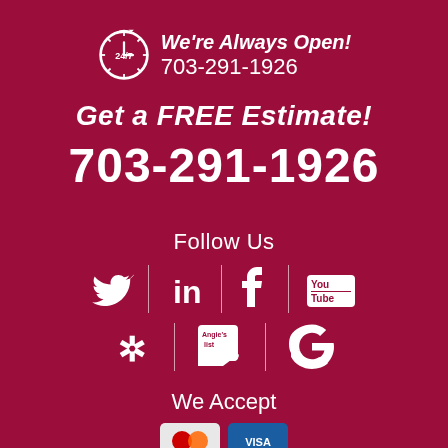[Figure (infographic): 24/7 clock icon with 'We're Always Open!' and phone number 703-291-1926]
Get a FREE Estimate!
703-291-1926
Follow Us
[Figure (infographic): Social media icons: Twitter, LinkedIn, Facebook, YouTube, Yelp, Angie's List, Google]
We Accept